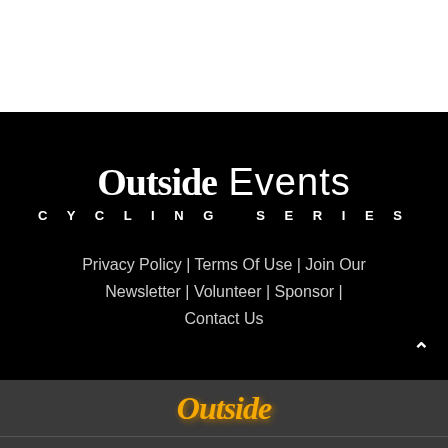[Figure (logo): Outside Events Cycling Series logo on black background with white text]
Privacy Policy | Terms Of Use | Join Our Newsletter | Volunteer | Sponsor | Contact Us
[Figure (logo): Outside magazine logo in yellow/orange italic text on dark gray background]
Share This ∨